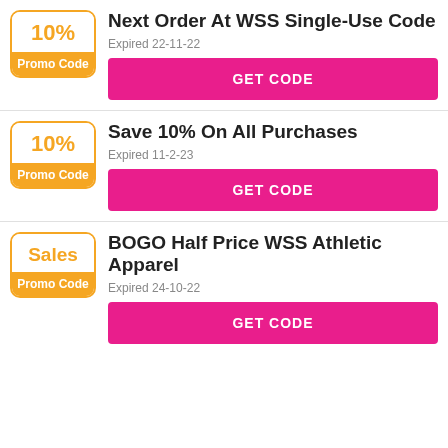[Figure (infographic): Coupon badge showing 10% Promo Code]
Next Order At WSS Single-Use Code
Expired 22-11-22
GET CODE
[Figure (infographic): Coupon badge showing 10% Promo Code]
Save 10% On All Purchases
Expired 11-2-23
GET CODE
[Figure (infographic): Coupon badge showing Sales Promo Code]
BOGO Half Price WSS Athletic Apparel
Expired 24-10-22
GET CODE